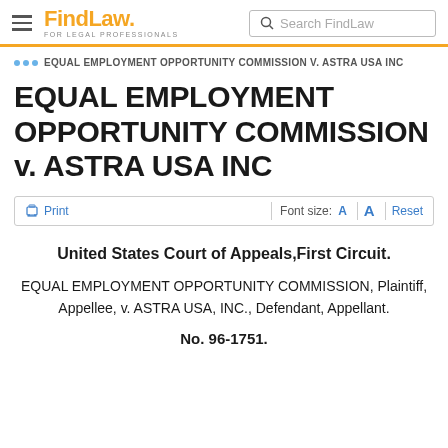FindLaw FOR LEGAL PROFESSIONALS | Search FindLaw
... EQUAL EMPLOYMENT OPPORTUNITY COMMISSION V. ASTRA USA INC
EQUAL EMPLOYMENT OPPORTUNITY COMMISSION v. ASTRA USA INC
Print | Font size: A A Reset
United States Court of Appeals,First Circuit.
EQUAL EMPLOYMENT OPPORTUNITY COMMISSION, Plaintiff, Appellee, v. ASTRA USA, INC., Defendant, Appellant.
No. 96-1751.